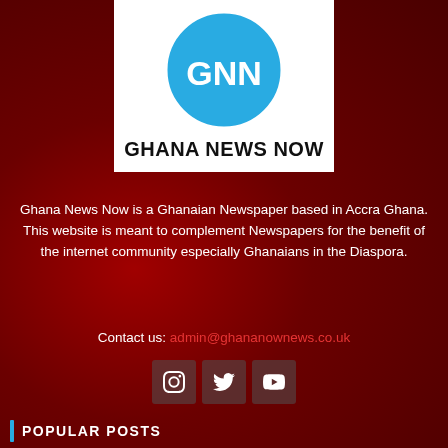[Figure (logo): GNN Ghana News Now logo: white rectangle with a light blue circle containing 'GNN' in white bold text, and 'GHANA NEWS NOW' in bold black text below]
Ghana News Now is a Ghanaian Newspaper based in Accra Ghana. This website is meant to complement Newspapers for the benefit of the internet community especially Ghanaians in the Diaspora.
Contact us: admin@ghananownews.co.uk
[Figure (infographic): Social media icons for Instagram, Twitter, and YouTube on dark semi-transparent square backgrounds]
POPULAR POSTS